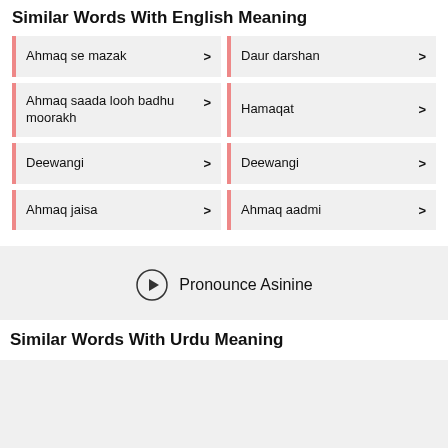Similar Words With English Meaning
Ahmaq se mazak >
Daur darshan >
Ahmaq saada looh badhu moorakh >
Hamaqat >
Deewangi >
Deewangi >
Ahmaq jaisa >
Ahmaq aadmi >
Pronounce Asinine
Similar Words With Urdu Meaning